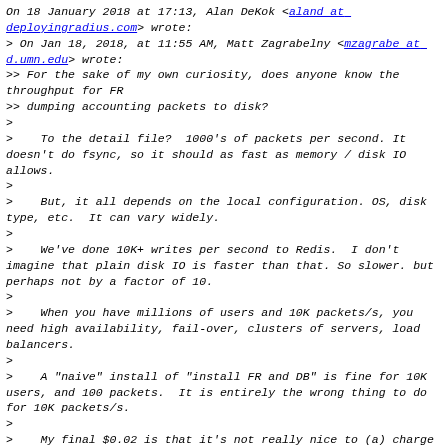On 18 January 2018 at 17:13, Alan DeKok <aland at deployingradius.com> wrote:
> On Jan 18, 2018, at 11:55 AM, Matt Zagrabelny <mzagrabe at d.umn.edu> wrote:
>> For the sake of my own curiosity, does anyone know the throughput for FR
>> dumping accounting packets to disk?
>
>    To the detail file?  1000's of packets per second. It doesn't do fsync, so it should as fast as memory / disk IO allows.
>
>    But, it all depends on the local configuration. OS, disk type, etc.  It can vary widely.
>
>    We've done 10K+ writes per second to Redis.  I don't imagine that plain disk IO is faster than that. So slower. but perhaps not by a factor of 10.
>
>    When you have millions of users and 10K packets/s, you need high availability, fail-over, clusters of servers, load balancers.
>
>    A "naive" install of "install FR and DB" is fine for 10K users, and 100 packets.  It is entirely the wrong thing to do for 10K packets/s.
>
>    My final $0.02 is that it's not really nice to (a) charge a customer for services you're incapable of providing, and (b) ask *us* to support you for free,